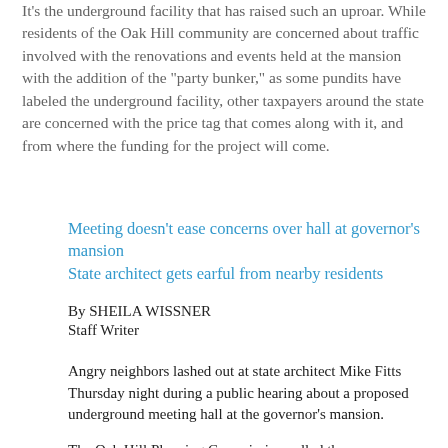It's the underground facility that has raised such an uproar. While residents of the Oak Hill community are concerned about traffic involved with the renovations and events held at the mansion with the addition of the "party bunker," as some pundits have labeled the underground facility, other taxpayers around the state are concerned with the price tag that comes along with it, and from where the funding for the project will come.
Meeting doesn't ease concerns over hall at governor's mansion
State architect gets earful from nearby residents
By SHEILA WISSNER
Staff Writer
Angry neighbors lashed out at state architect Mike Fitts Thursday night during a public hearing about a proposed underground meeting hall at the governor's mansion.
The Oak Hill Planning Commission called the